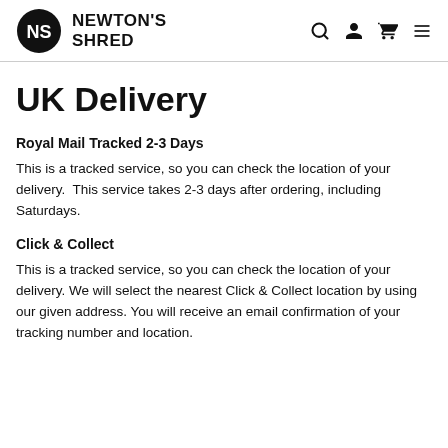NEWTON'S SHRED
UK Delivery
Royal Mail Tracked 2-3 Days
This is a tracked service, so you can check the location of your delivery.  This service takes 2-3 days after ordering, including Saturdays.
Click & Collect
This is a tracked service, so you can check the location of your delivery. We will select the nearest Click & Collect location by using our given address. You will receive an email confirmation of your tracking number and location.